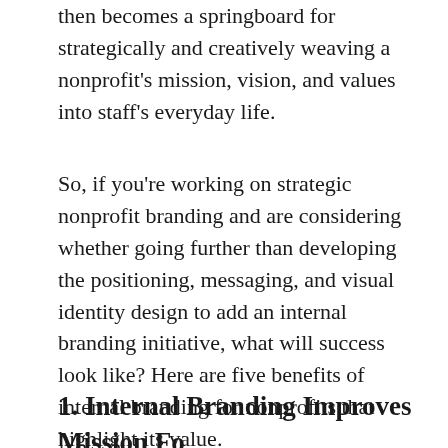then becomes a springboard for strategically and creatively weaving a nonprofit's mission, vision, and values into staff's everyday life.
So, if you're working on strategic nonprofit branding and are considering whether going further than developing the positioning, messaging, and visual identity design to add an internal branding initiative, what will success look like? Here are five benefits of internal branding for nonprofits that highlight its value.
1. Internal Branding Improves Mission Fo…